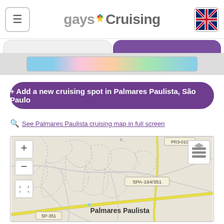gaysCruising
+ Add a new cruising spot in Palmares Paulista, São Paulo
See Palmares Paulista cruising map in full screen
[Figure (map): Street map of Palmares Paulista, São Paulo area showing roads, the SP-351 highway, SPA-194/351 road label, and the town label 'Palmares Paulista'. Map controls include zoom in (+), zoom out (-), fullscreen, and layers buttons.]